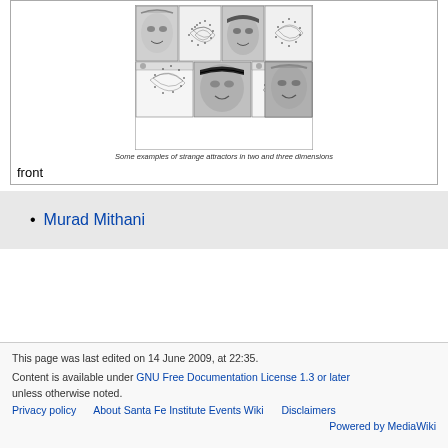[Figure (photo): A grid of images showing examples of strange attractors in two and three dimensions, alternating between human face photographs and chaotic/fractal attractor patterns.]
Some examples of strange attractors in two and three dimensions
front
Murad Mithani
This page was last edited on 14 June 2009, at 22:35. Content is available under GNU Free Documentation License 1.3 or later unless otherwise noted. Privacy policy    About Santa Fe Institute Events Wiki    Disclaimers    Powered by MediaWiki